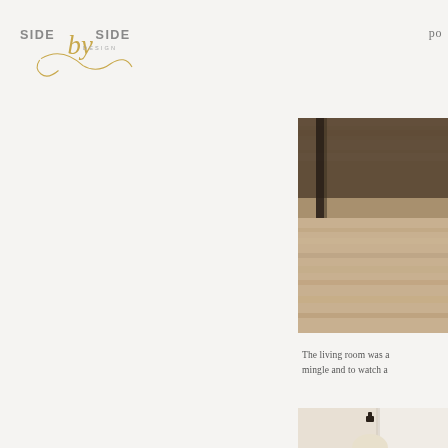SIDE by SIDE DESIGN
po
[Figure (photo): Interior design photo showing a wooden floor and dark metal furniture legs, warm brown tones, cropped close-up]
The living room was a mingle and to watch a
[Figure (photo): Interior design photo showing a decorative lamp with cream/ivory spherical orbs stacked vertically connected by dark metal connectors, against a warm beige wall]